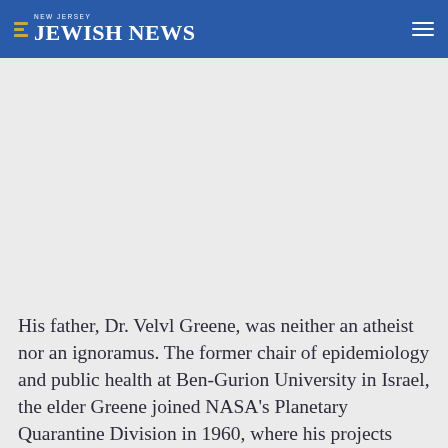NEW JERSEY JEWISH NEWS
His father, Dr. Velvl Greene, was neither an atheist nor an ignoramus. The former chair of epidemiology and public health at Ben-Gurion University in Israel, the elder Greene joined NASA's Planetary Quarantine Division in 1960, where his projects